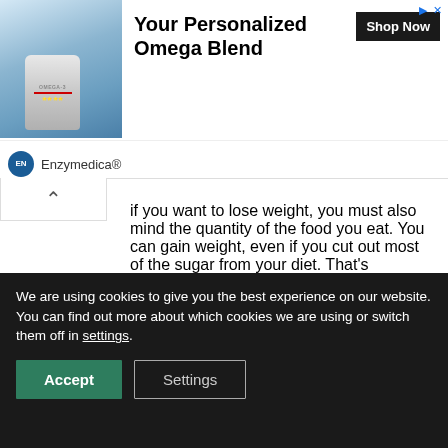[Figure (screenshot): Advertisement banner for Enzymedica Omega-3 supplement product with image of person holding supplement bottle, bold ad title 'Your Personalized Omega Blend', a 'Shop Now' button, and Enzymedica brand logo.]
if you want to lose weight, you must also mind the quantity of the food you eat. You can gain weight, even if you cut out most of the sugar from your diet. That's because you gain weight when you're in a caloric surplus.
We are using cookies to give you the best experience on our website.
You can find out more about which cookies we are using or switch them off in settings.